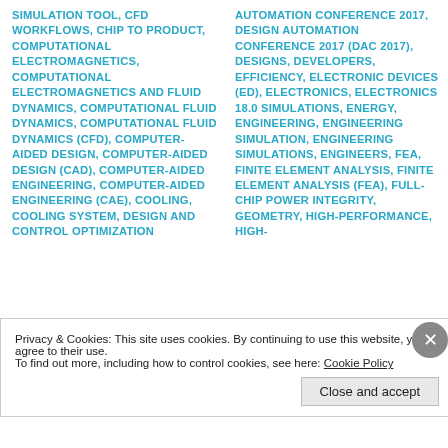SIMULATION TOOL, CFD WORKFLOWS, CHIP TO PRODUCT, COMPUTATIONAL ELECTROMAGNETICS, COMPUTATIONAL ELECTROMAGNETICS AND FLUID DYNAMICS, COMPUTATIONAL FLUID DYNAMICS, COMPUTATIONAL FLUID DYNAMICS (CFD), COMPUTER-AIDED DESIGN, COMPUTER-AIDED DESIGN (CAD), COMPUTER-AIDED ENGINEERING, COMPUTER-AIDED ENGINEERING (CAE), COOLING, COOLING SYSTEM, DESIGN AND CONTROL OPTIMIZATION
AUTOMATION CONFERENCE 2017, DESIGN AUTOMATION CONFERENCE 2017 (DAC 2017), DESIGNS, DEVELOPERS, EFFICIENCY, ELECTRONIC DEVICES (ED), ELECTRONICS, ELECTRONICS 18.0 SIMULATIONS, ENERGY, ENGINEERING, ENGINEERING SIMULATION, ENGINEERING SIMULATIONS, ENGINEERS, FEA, FINITE ELEMENT ANALYSIS, FINITE ELEMENT ANALYSIS (FEA), FULL-CHIP POWER INTEGRITY, GEOMETRY, HIGH-PERFORMANCE, HIGH-
Privacy & Cookies: This site uses cookies. By continuing to use this website, you agree to their use.
To find out more, including how to control cookies, see here: Cookie Policy
Close and accept